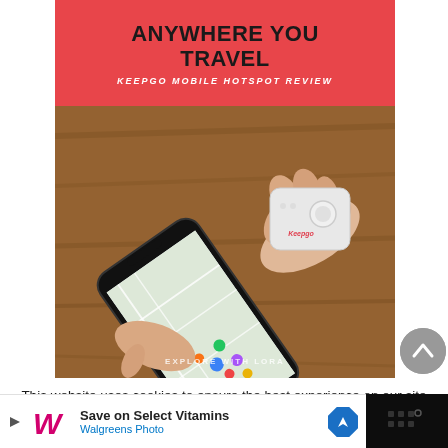ANYWHERE YOU TRAVEL
KEEPGO MOBILE HOTSPOT REVIEW
[Figure (photo): A hand holding a white Keepgo mobile WiFi hotspot device above another hand holding a smartphone displaying Google Maps, against a wooden background. Watermark reads EXPLORE WITH LORA at bottom.]
This website uses cookies to ensure the best experience on our site (only the tasteless robot kind). If you continue to use this site, you are agreeing to the privacy policy.
[Figure (infographic): Advertisement banner: Walgreens logo on left, text 'Save on Select Vitamins' and 'Walgreens Photo', blue navigation arrow icon on right, dark sidebar on far right with speaker/audio icon]